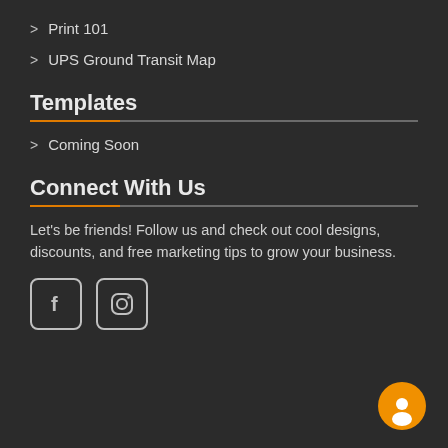> Print 101
> UPS Ground Transit Map
Templates
> Coming Soon
Connect With Us
Let's be friends! Follow us and check out cool designs, discounts, and free marketing tips to grow your business.
[Figure (illustration): Facebook and Instagram social media icon buttons (square with rounded corners), plus a circular orange chat bubble button in the bottom right.]